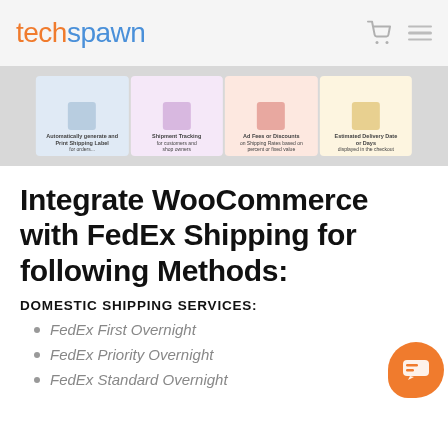techspawn
[Figure (screenshot): Banner image strip showing WooCommerce FedEx shipping plugin features: Print Shipping Label, Shipment Tracking, Add Fees or Discounts, Estimated Delivery Date or Days]
Integrate WooCommerce with FedEx Shipping for following Methods:
DOMESTIC SHIPPING SERVICES:
FedEx First Overnight
FedEx Priority Overnight
FedEx Standard Overnight